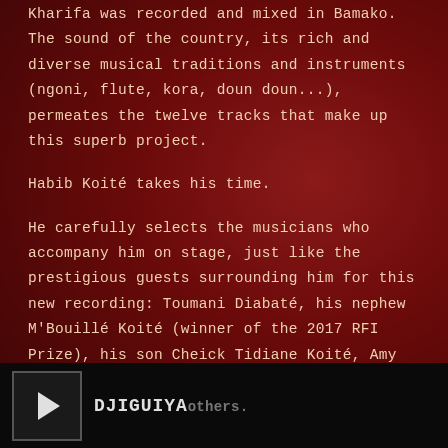Kharifa was recorded and mixed in Bamako. The sound of the country, its rich and diverse musical traditions and instruments (ngoni, flute, kora, doun doun...), permeates the twelve tracks that make up this superb project.

Habib Koité takes his time.

He carefully selects the musicians who accompany him on stage, just like the prestigious guests surrounding him for this new recording: Toumani Diabaté, his nephew M'Bouillé Koité (winner of the 2017 RFI Prize), his son Cheick Tidiane Koité, Amy Sacko, lead singer of Bassekou Kouyaté's group Ngoni…and others.
[Figure (other): Music player bar at the bottom with play button and track title DJIGUIYA]